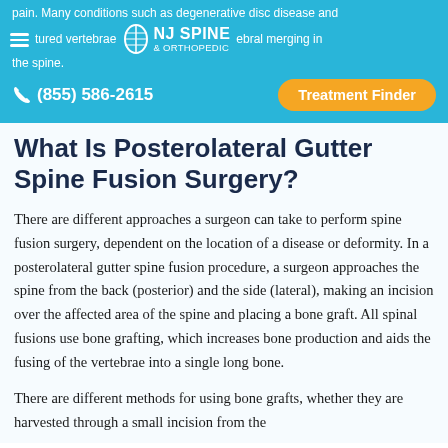pain. Many conditions such as degenerative disc disease and fractured vertebrae ... ebral merging in the spine.
[Figure (logo): NJ Spine & Orthopedic logo with spine icon, hamburger menu icon, phone number (855) 586-2615, and Treatment Finder button on blue navigation bar]
What Is Posterolateral Gutter Spine Fusion Surgery?
There are different approaches a surgeon can take to perform spine fusion surgery, dependent on the location of a disease or deformity. In a posterolateral gutter spine fusion procedure, a surgeon approaches the spine from the back (posterior) and the side (lateral), making an incision over the affected area of the spine and placing a bone graft. All spinal fusions use bone grafting, which increases bone production and aids the fusing of the vertebrae into a single long bone.
There are different methods for using bone grafts, whether they are harvested through a small incision from the...